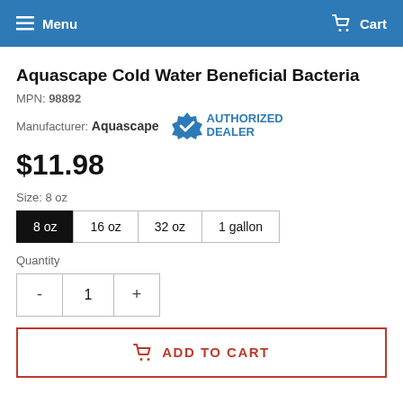Menu  Cart
Aquascape Cold Water Beneficial Bacteria
MPN: 98892
Manufacturer: Aquascape  AUTHORIZED DEALER
$11.98
Size:  8 oz
8 oz  16 oz  32 oz  1 gallon
Quantity
- 1 +
ADD TO CART